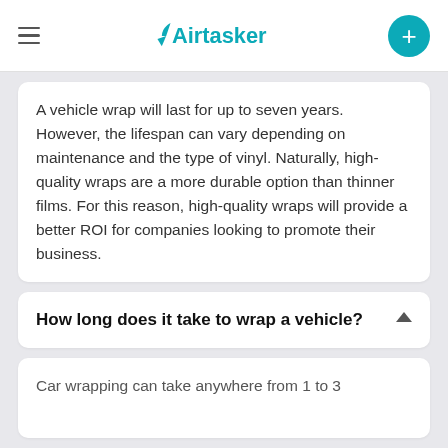Airtasker
A vehicle wrap will last for up to seven years. However, the lifespan can vary depending on maintenance and the type of vinyl. Naturally, high-quality wraps are a more durable option than thinner films. For this reason, high-quality wraps will provide a better ROI for companies looking to promote their business.
How long does it take to wrap a vehicle?
Car wrapping can take anywhere from 1 to 3